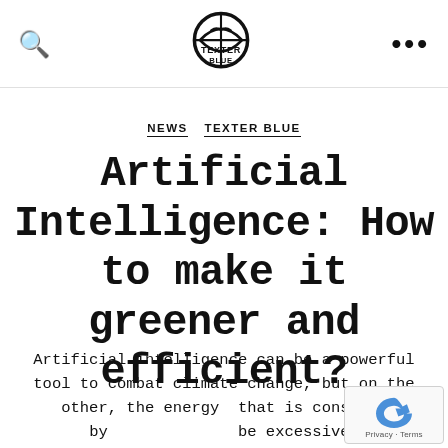TEXTER BLUE — navigation header with search icon, logo, and more menu
NEWS  TEXTER BLUE
Artificial Intelligence: How to make it greener and efficient?
Artificial intelligence can be a powerful tool to combat climate change, but on the other, the energy that is consumed by the can be excessive.